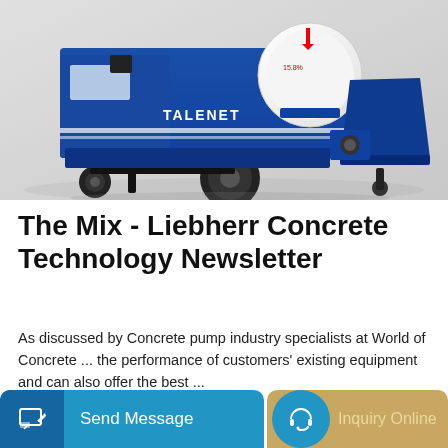[Figure (photo): Blue concrete pump machine with TALENET branding, white mixing drum, large wheel, on white background]
The Mix - Liebherr Concrete Technology Newsletter
As discussed by Concrete pump industry specialists at World of Concrete ... the performance of customers' existing equipment and can also offer the best ...
Learn More
[Figure (photo): Yellow concrete machinery equipment, partially visible at bottom of page]
Send Message
Inquiry Online